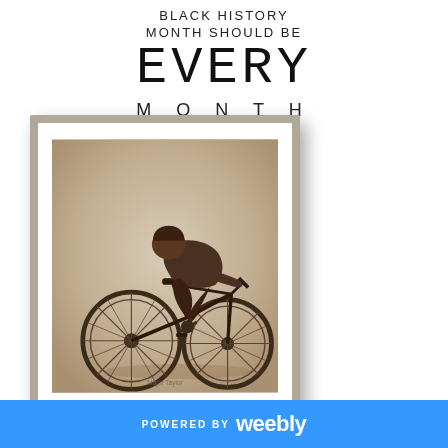BLACK HISTORY MONTH SHOULD BE EVERY MONTH
[Figure (photo): Vintage sepia photograph of a Black cyclist in a racing crouch position on a bicycle, displayed in a white frame with gray mat]
POWERED BY weebly